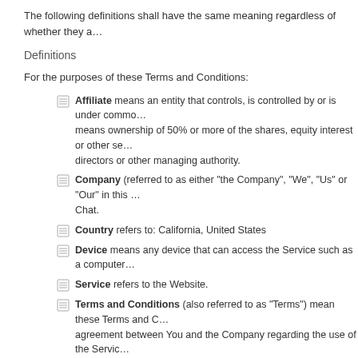The following definitions shall have the same meaning regardless of whether they appear in singular or in plural.
Definitions
For the purposes of these Terms and Conditions:
Affiliate means an entity that controls, is controlled by or is under common control with a party, where "control" means ownership of 50% or more of the shares, equity interest or other securities entitled to vote for election of directors or other managing authority.
Company (referred to as either "the Company", "We", "Us" or "Our" in this Agreement) refers to Internationals Chat.
Country refers to: California, United States
Device means any device that can access the Service such as a computer, a cellphone or a digital tablet.
Service refers to the Website.
Terms and Conditions (also referred to as "Terms") mean these Terms and Conditions that form the entire agreement between You and the Company regarding the use of the Service. This Terms and Conditions agreement is maintained by the Free Terms and Conditions Generator.
Third-party Social Media Service means any services or content (including data, information, products or services) provided by a third-party that may be displayed, included or made available by the Service.
Website refers to Internationals Chat, accessible from http://www.classycruiser.com
You means the individual accessing or using the Service, or the company or other legal entity on behalf of which such individual is accessing or using the Service, as applicable.